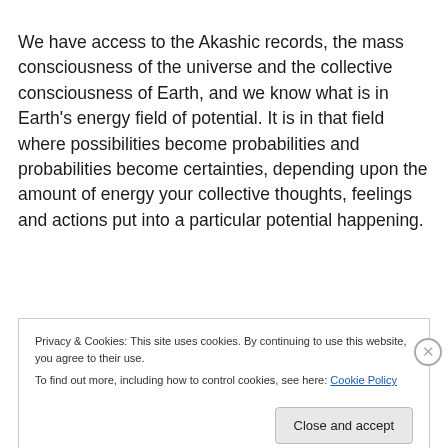We have access to the Akashic records, the mass consciousness of the universe and the collective consciousness of Earth, and we know what is in Earth's energy field of potential. It is in that field where possibilities become probabilities and probabilities become certainties, depending upon the amount of energy your collective thoughts, feelings and actions put into a particular potential happening.
Privacy & Cookies: This site uses cookies. By continuing to use this website, you agree to their use.
To find out more, including how to control cookies, see here: Cookie Policy
Close and accept